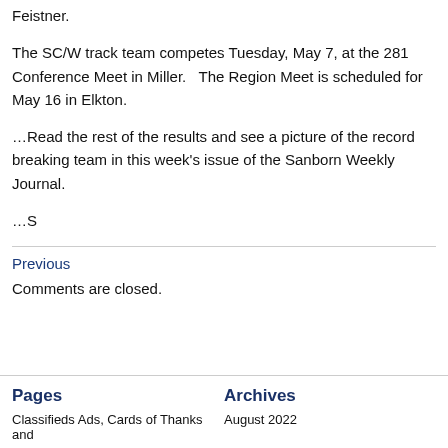Feistner.
The SC/W track team competes Tuesday, May 7, at the 281 Conference Meet in Miller.   The Region Meet is scheduled for May 16 in Elkton.
…Read the rest of the results and see a picture of the record breaking team in this week's issue of the Sanborn Weekly Journal.
…S
Previous
Comments are closed.
Pages
Archives
Classifieds Ads, Cards of Thanks and
August 2022